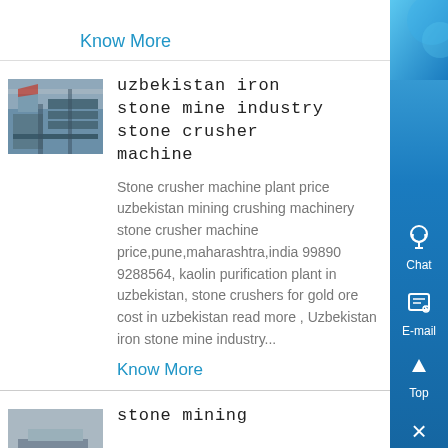Know More
[Figure (photo): Industrial stone crushing or mining equipment facility, interior view with machinery and structural elements.]
uzbekistan iron stone mine industry stone crusher machine
Stone crusher machine plant price uzbekistan mining crushing machinery stone crusher machine price,pune,maharashtra,india 99890 9288564, kaolin purification plant in uzbekistan, stone crushers for gold ore cost in uzbekistan read more , Uzbekistan iron stone mine industry...
Know More
[Figure (photo): Stone mining machinery or equipment, partial view at bottom of page.]
stone mining